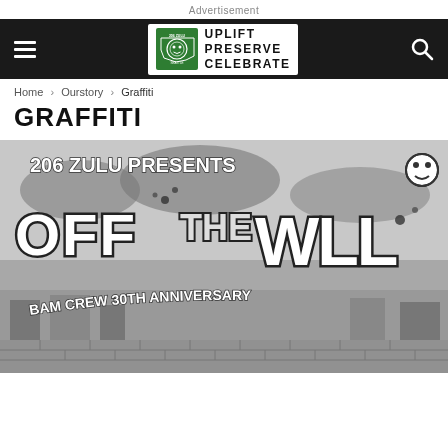Advertisement
[Figure (logo): 206 Zulu website navigation bar with hamburger menu, 206 Zulu logo (Washington state shape in green with text UPLIFT PRESERVE CELEBRATE), and search icon]
Home › Ourstory › Graffiti
GRAFFITI
[Figure (photo): Black and white graffiti art illustration reading '206 ZULU PRESENTS OFF THE WALL BAM CREW 30TH ANNIVERSARY August' in large stylized graffiti lettering with urban background]